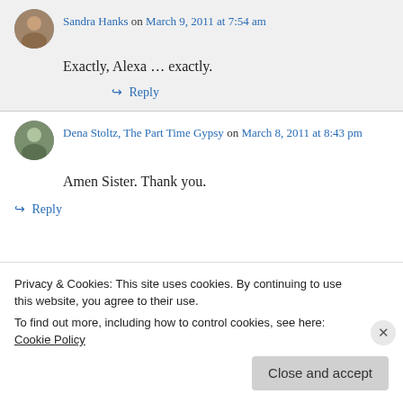Sandra Hanks on March 9, 2011 at 7:54 am
Exactly, Alexa … exactly.
↪ Reply
Dena Stoltz, The Part Time Gypsy on March 8, 2011 at 8:43 pm
Amen Sister. Thank you.
↪ Reply
Privacy & Cookies: This site uses cookies. By continuing to use this website, you agree to their use.
To find out more, including how to control cookies, see here: Cookie Policy
Close and accept